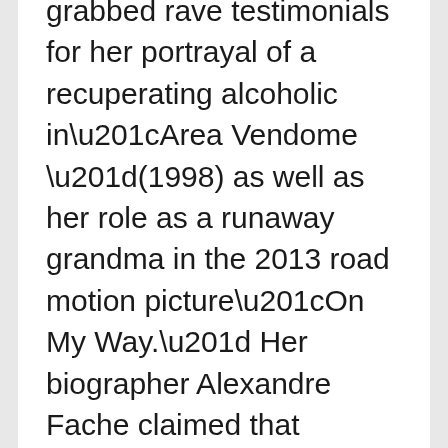grabbed rave testimonials for her portrayal of a recuperating alcoholic in“Area Vendome ”(1998) as well as her role as a runaway grandma in the 2013 road motion picture“On My Way.” Her biographer Alexandre Fache claimed that throughout the years Deneuve has actually concerned manifest France,“its classic sophistication, haughty beauty as well as its countless paradoxes.”